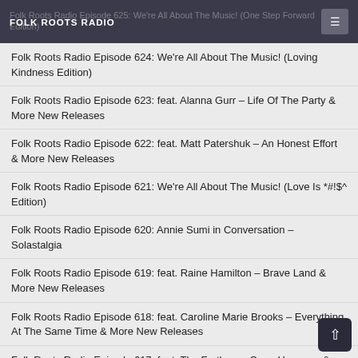FOLK ROOTS RADIO | Folk Roots Radio Episode 625: We're All About The Music! (One Step Forward Edition)
Folk Roots Radio Episode 624: We're All About The Music! (Loving Kindness Edition)
Folk Roots Radio Episode 623: feat. Alanna Gurr – Life Of The Party & More New Releases
Folk Roots Radio Episode 622: feat. Matt Patershuk – An Honest Effort & More New Releases
Folk Roots Radio Episode 621: We're All About The Music! (Love Is *#!$^ Edition)
Folk Roots Radio Episode 620: Annie Sumi in Conversation – Solastalgia
Folk Roots Radio Episode 619: feat. Raine Hamilton – Brave Land & More New Releases
Folk Roots Radio Episode 618: feat. Caroline Marie Brooks – Everything At The Same Time & More New Releases
Folk Roots Radio Episode 617: feat. The Fretless – Open H & More New Releases